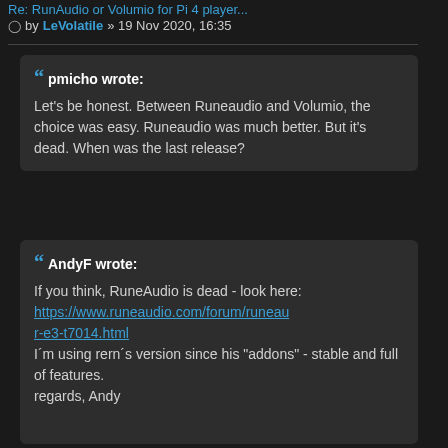Re: RunAudio or Volumio for Pi 4 player...
by LeVolatile » 19 Nov 2020, 16:35
« pmicho wrote:
Let's be honest. Between Runeaudio and Volumio, the choice was easy. Runeaudio was much better. But it's dead. When was the last release?
« AndyF wrote:
If you think, RuneAudio is dead - look here:
https://www.runeaudio.com/forum/runeau r-e3-t7014.html

I´m using rern´s version since his "addons" - stable and full of features.

regards, Andy